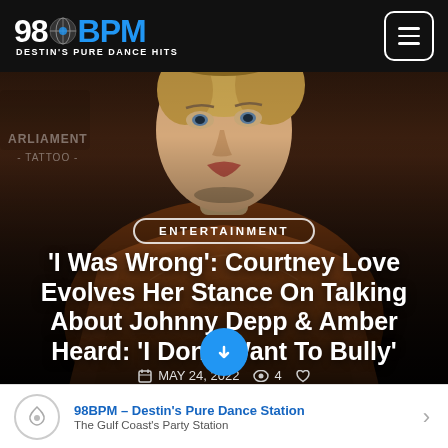98BPM DESTIN'S PURE DANCE HITS
[Figure (photo): Photo of Courtney Love at an event with PARLIAMENT TATTOO signage in background, dressed in orange/brown outfit with jewelry. Dark overlay applied.]
PARLIAMENT - TATTOO -
ENTERTAINMENT
'I Was Wrong': Courtney Love Evolves Her Stance On Talking About Johnny Depp & Amber Heard: 'I Don't Want To Bully'
MAY 24, 2022  👁 4  ♡
98BPM – Destin's Pure Dance Station
The Gulf Coast's Party Station